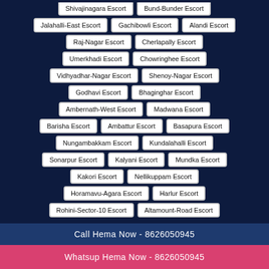Jalahalli-East Escort
Gachibowli Escort
Alandi Escort
Raj-Nagar Escort
Cherlapally Escort
Umerkhadi Escort
Chowringhee Escort
Vidhyadhar-Nagar Escort
Shenoy-Nagar Escort
Godhavi Escort
Bhaginghar Escort
Ambernath-West Escort
Madwana Escort
Barisha Escort
Ambattur Escort
Basapura Escort
Nungambakkam Escort
Kundalahalli Escort
Sonarpur Escort
Kalyani Escort
Mundka Escort
Kakori Escort
Nellikuppam Escort
Horamavu-Agara Escort
Harlur Escort
Rohini-Sector-10 Escort
Altamount-Road Escort
Call Hema Now - 8626050945
Whatsup Hema Now - 8626050945